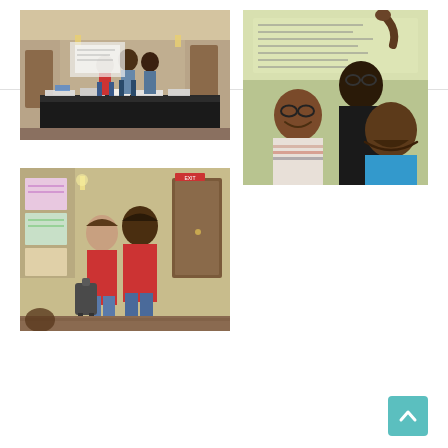[Figure (logo): ViaHOPE logo with tree icon and teal text, plus hamburger menu icon in top right]
[Figure (photo): Conference room setup with registration table covered in papers and materials, two people standing near tables in a hotel meeting room]
[Figure (photo): Selfie of four people smiling at a training or conference, whiteboard with notes in background]
[Figure (photo): Two people in red shirts standing by a doorway in a conference or training room]